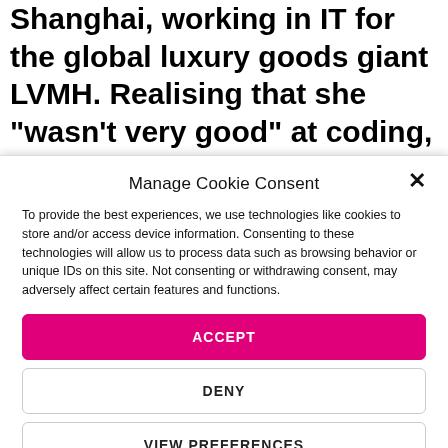Shanghai, working in IT for the global luxury goods giant LVMH. Realising that she “wasn’t very good” at coding, and she didn’t particularly enjoy it, a push
Manage Cookie Consent
To provide the best experiences, we use technologies like cookies to store and/or access device information. Consenting to these technologies will allow us to process data such as browsing behavior or unique IDs on this site. Not consenting or withdrawing consent, may adversely affect certain features and functions.
ACCEPT
DENY
VIEW PREFERENCES
Terms & Conditions